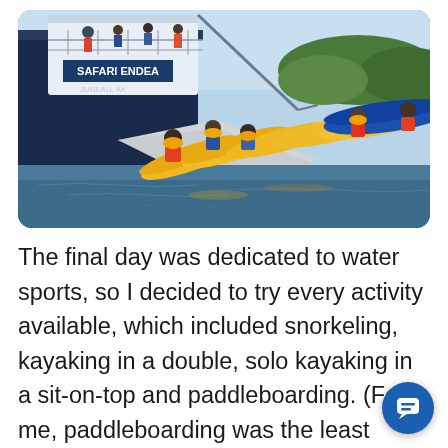[Figure (photo): People boarding yellow kayaks from a floating dock beside a large ship labeled 'Safari Endeavour, Juneau, AK'. Passengers wearing orange life vests are getting into sea kayaks. Blue kayaks visible in the background. Ocean and forested shoreline in the distance.]
The final day was dedicated to water sports, so I decided to try every activity available, which included snorkeling, kayaking in a double, solo kayaking in a sit-on-top and paddleboarding. (For me, paddleboarding was the least successful; it's much harder to balance than it looks.) With the ship's